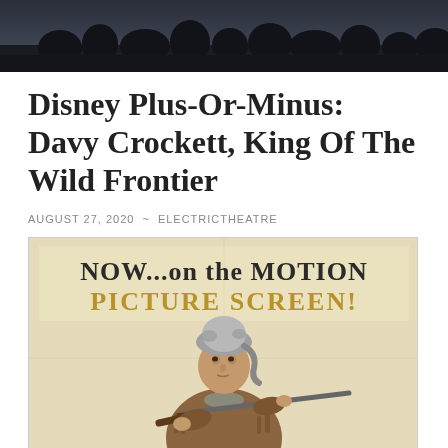[Figure (photo): Dark landscape/forest scene photo strip at top of article page]
Disney Plus-Or-Minus: Davy Crockett, King Of The Wild Frontier
AUGUST 27, 2020 ~ ELECTRICTHEATRE
[Figure (photo): Movie poster for Davy Crockett King of the Wild Frontier showing a man in a coonskin cap holding a rifle with text NOW...on the MOTION PICTURE SCREEN!]